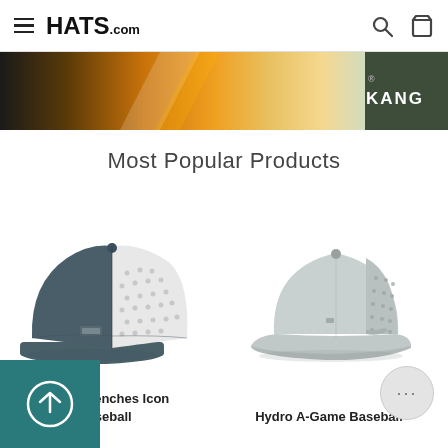HATS.com
[Figure (photo): Colorful banner with orange/yellow hues on left side and dark green/olive on right side with KANG® text visible]
Most Popular Products
[Figure (photo): Hydro Trenches Icon Baseball cap - dark teal/slate colored flat brim snapback with white perforated mesh back panel and small logo badge]
[Figure (photo): Hydro A-Game Baseball cap - light gray curved brim baseball cap with perforated side panels]
Hydro Trenches Icon Baseball
Hydro A-Game Baseball